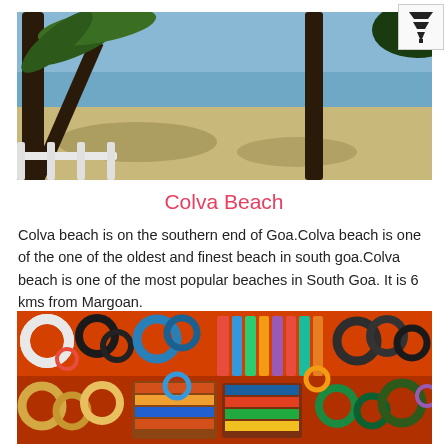[Figure (photo): Beach scene with palm trees, sandy shore, and blue water at Colva Beach, Goa]
Colva Beach
Colva beach is on the southern end of Goa.Colva beach is one of the one of the oldest and finest beach in south goa.Colva beach is one of the most popular beaches in South Goa. It is 6 kms from Margoan.
[Figure (photo): Colorful bangles and bracelets displayed at a market stall]